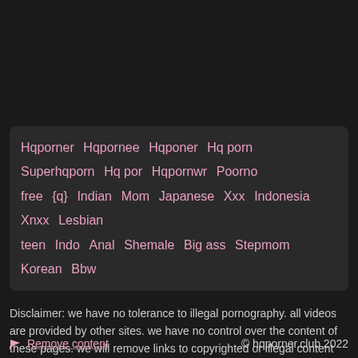Hqporner  Hqpornee  Hqponer  Hq porn  Superhqporn  Hq por  Hqpornwr  Poorno  free  {q}  Indian  Mom  Japanese  Xxx  Indonesia  Xnxx  Lesbian  teen  Indo  Anal  Shemale  Big ass  Stepmom  Korean  Bbw
Disclaimer: we have no tolerance to illegal pornography. all videos are provided by other sites. we have no control over the content of these pages. we will remove links to copyrighted or illegal content within several hours. just report problematic videos using [flag] button near video thumb. if you do not agree with our terms, please leave this site
Remove content  © hqporner.club 2022